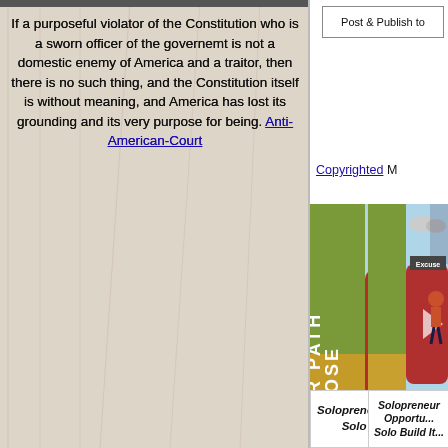If a purposeful violator of the Constitution who is a sworn officer of the governemt is not a domestic enemy of America and a traitor, then there is no such thing, and the Constitution itself is without meaning, and America has lost its grounding and its very purpose for being. Anti-American-Court
Live Interviews
Cliff and Vic disuss 2020 election Court failure
Post & Publish to
Copyrighted M
[Figure (illustration): Choose Your Path motivational graphic with vertical text 'CHOOSE YOUR PATH' on green/olive background, with a figure and directional signs including 'Excuse' on the right side]
Solopreneur Opportu... Solo Build It...